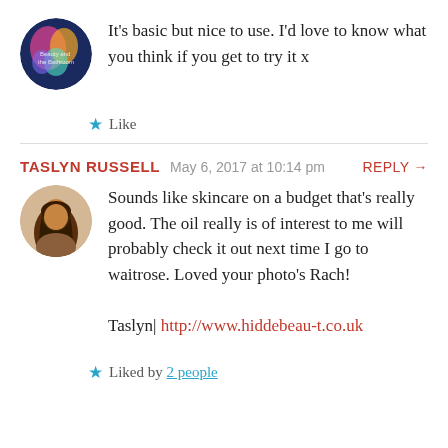It's basic but nice to use. I'd love to know what you think if you get to try it x
Like
TASLYN RUSSELL  May 6, 2017 at 10:14 pm  REPLY →
Sounds like skincare on a budget that's really good. The oil really is of interest to me will probably check it out next time I go to waitrose. Loved your photo's Rach!

Taslyn| http://www.hiddebeau-t.co.uk
Liked by 2 people